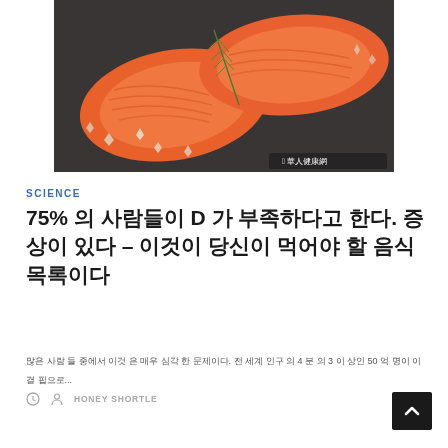[Figure (photo): Two salmon fillets with rosemary sprigs and salt crystals on a dark surface, with a watermark reading 華人健康網]
SCIENCE
75% 의 사람들이 D 가 부족하다고 한다. 증상이 있다 – 이것이 당신이 먹어야 할 음식 목록이다
많은 사람 들 중에서 이것 은 매우 심각 한 문제이다. 전 세계 인구 의 4 분 의 3 이 상인 50 억 명이 이 결 핍으로...
HONEY SHORTLE